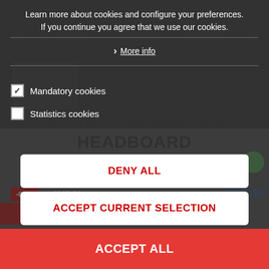Learn more about cookies and configure your preferences. If you continue you agree that we use our cookies.
More info
Mandatory cookies
Statistics cookies
OPORETO FRAMELESS HEADBOARD
Be the first to write a r...
-60%
€237.50
€135.10
plicify joined in a spectacular headboard.
DENY ALL
ACCEPT CURRENT SELECTION
ACCEPT ALL